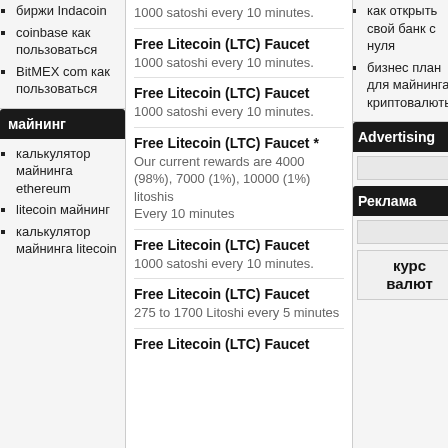биржи Indacoin
coinbase как пользоваться
BitMEX com как пользоваться
майнинг
калькулятор майнинга ethereum
litecoin майнинг
калькулятор майнинга litecoin
1000 satoshi every 10 minutes.
Free Litecoin (LTC) Faucet
1000 satoshi every 10 minutes.
Free Litecoin (LTC) Faucet
1000 satoshi every 10 minutes.
Free Litecoin (LTC) Faucet *
Our current rewards are 4000 (98%), 7000 (1%), 10000 (1%) litoshis
Every 10 minutes
Free Litecoin (LTC) Faucet
1000 satoshi every 10 minutes.
Free Litecoin (LTC) Faucet
275 to 1700 Litoshi every 5 minutes
Free Litecoin (LTC) Faucet
как открыть свой банк с нуля
бизнес план для майнинга криптовалюты
Advertising
Реклама
курс валют